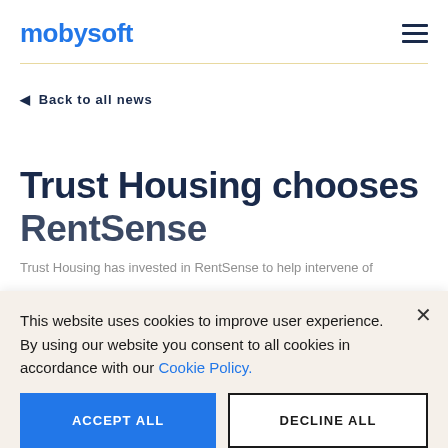mobysoft
Back to all news
Trust Housing chooses RentSense
Trust Housing has invested in RentSense to help intervene of...
This website uses cookies to improve user experience. By using our website you consent to all cookies in accordance with our Cookie Policy.
ACCEPT ALL
DECLINE ALL